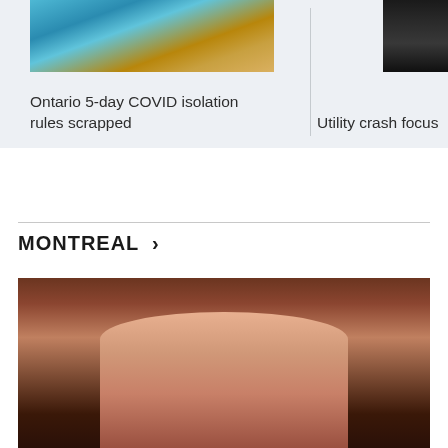[Figure (photo): Gloved hand holding a COVID-19 rapid test card]
Ontario 5-day COVID isolation rules scrapped
[Figure (photo): Small thumbnail photo partially visible on right side]
Utility crash focus
MONTREAL >
[Figure (photo): Woman in pink blazer speaking, likely in a formal setting]